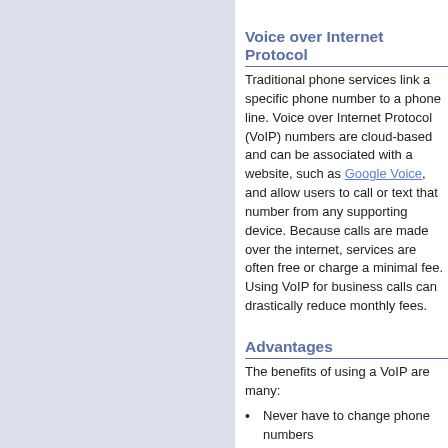Voice over Internet Protocol
Traditional phone services link a specific phone number to a phone line. Voice over Internet Protocol (VoIP) numbers are cloud-based and can be associated with a website, such as Google Voice, and allow users to call or text that number from any supporting device. Because calls are made over the internet, services are often free or charge a minimal fee. Using VoIP for business calls can drastically reduce monthly fees.
Advantages
The benefits of using a VoIP are many:
Never have to change phone numbers
Not tying up your personal line
Not having to purchase a business line
Cheap or free service
International calling
Masking identity
Choosing any phone number in any area code
Operating multiple phone lines
Accessing many features of traditional phone services